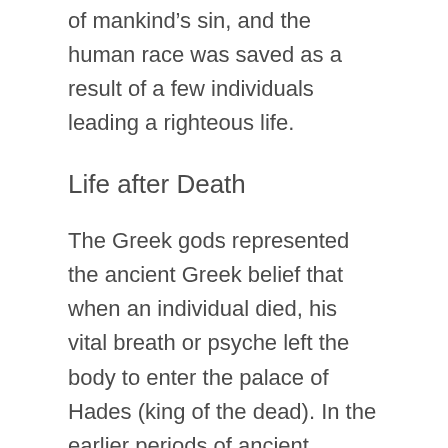of mankind's sin, and the human race was saved as a result of a few individuals leading a righteous life.
Life after Death
The Greek gods represented the ancient Greek belief that when an individual died, his vital breath or psyche left the body to enter the palace of Hades (king of the dead). In the earlier periods of ancient Greece, the psyche was not the same as the Christian view of a soul. Once it left the body, the psyche was a phantom image that could be perceived, but not